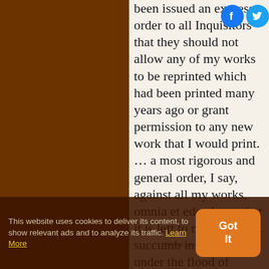been issued an express order to all Inquisitors that they should not allow any of my works to be reprinted which had been printed many years ago or grant permission to any new work that I would print. … a most rigorous and general order, I say, against all my works, omnia et edenda; so that it is left to me only to succumb in silence under the flood of attacks, exposures, derision, and insult coming from all sides.
— Galileo Galilei
Science quotes on: | Against
This website uses cookies to deliver its content, to show relevant ads and to analyze its traffic. Learn More